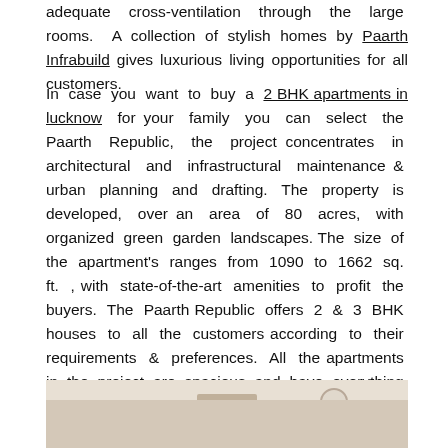adequate cross-ventilation through the large rooms. A collection of stylish homes by Paarth Infrabuild gives luxurious living opportunities for all customers.
In case you want to buy a 2 BHK apartments in lucknow for your family you can select the Paarth Republic, the project concentrates in architectural and infrastructural maintenance & urban planning and drafting. The property is developed, over an area of 80 acres, with organized green garden landscapes. The size of the apartment's ranges from 1090 to 1662 sq. ft. , with state-of-the-art amenities to profit the buyers. The Paarth Republic offers 2 & 3 BHK houses to all the customers according to their requirements & preferences. All the apartments in the project are spacious and have everything a consumer would aspire to have in their dream apartment.
[Figure (photo): Interior photo of a room showing ceiling with beam/molding detail and circular light fixture, walls visible]